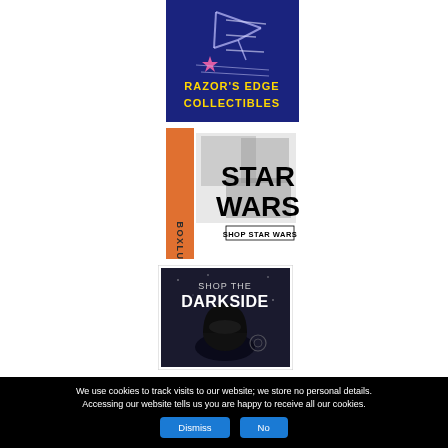[Figure (logo): Razor's Edge Collectibles logo on dark blue background with stylized RE monogram and yellow text reading RAZOR'S EDGE COLLECTIBLES]
[Figure (logo): BoxLunch Star Wars advertisement banner with vertical BOXLUNCH text on orange left strip and STAR WARS SHOP STAR WARS text on the right with merchandise imagery]
[Figure (illustration): Shop The Darkside banner advertisement showing text SHOP THE DARKSIDE over dark space background with a Darth Vader helmet silhouette]
We use cookies to track visits to our website; we store no personal details. Accessing our website tells us you are happy to receive all our cookies.
Dismiss | No